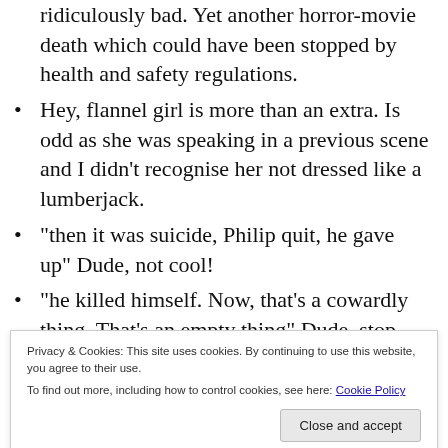ridiculously bad. Yet another horror-movie death which could have been stopped by health and safety regulations.
Hey, flannel girl is more than an extra. Is odd as she was speaking in a previous scene and I didn’t recognise her not dressed like a lumberjack.
“then it was suicide, Philip quit, he gave up” Dude, not cool!
“he killed himself. Now, that’s a cowardly thing. That’s an empty thing” Dude, stop right there. I feel if you say anything else I’m going to wish harm upon you as a character.
Privacy & Cookies: This site uses cookies. By continuing to use this website, you agree to their use. To find out more, including how to control cookies, see here: Cookie Policy
Close and accept